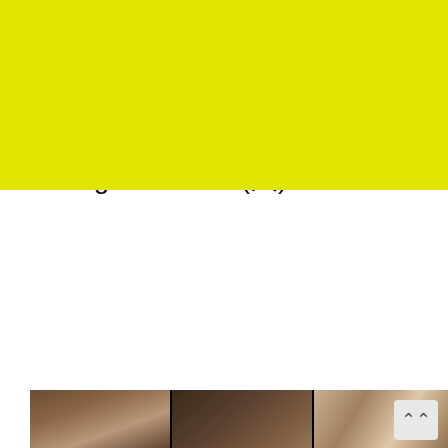[Figure (other): Yellow/chartreuse banner at top of page]
8/21　Starlight Cruisin' (Tue.)
⊙ 2012.08.21
Tuesday 8:00-10:00PM
Aug. 21st, 2012.
on SHONAN BEACH FM 78.9MHz
Starlight Cruisin' (火)
[Figure (photo): Three-panel photo collage at the bottom, appearing to show concert or event scenes in dark/warm tones]